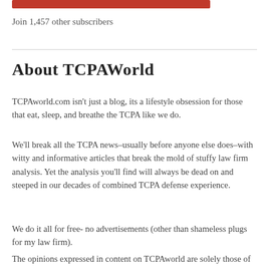[Figure (other): Red button/bar element at top of page]
Join 1,457 other subscribers
About TCPAWorld
TCPAworld.com isn’t just a blog, its a lifestyle obsession for those that eat, sleep, and breathe the TCPA like we do.
We’ll break all the TCPA news–usually before anyone else does–with witty and informative articles that break the mold of stuffy law firm analysis. Yet the analysis you’ll find will always be dead on and steeped in our decades of combined TCPA defense experience.
We do it all for free- no advertisements (other than shameless plugs for my law firm).
The opinions expressed in content on TCPAworld are solely those of the authors and contributors that share their